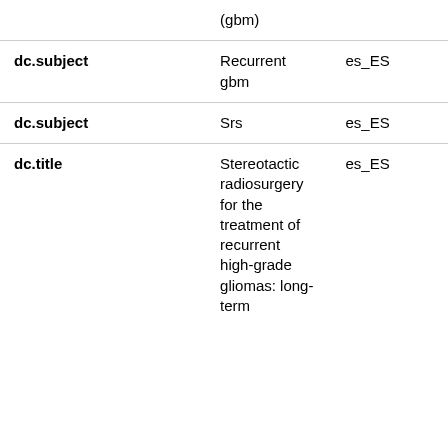| Field | Value | Language |
| --- | --- | --- |
|  | (gbm) |  |
| dc.subject | Recurrent gbm | es_ES |
| dc.subject | Srs | es_ES |
| dc.title | Stereotactic radiosurgery for the treatment of recurrent high-grade gliomas: long-term foll... | es_ES |